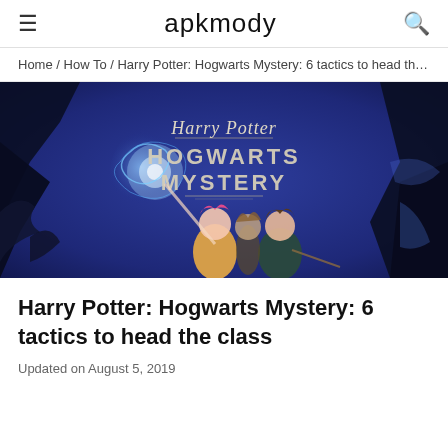apkmody
Home / How To / Harry Potter: Hogwarts Mystery: 6 tactics to head th…
[Figure (illustration): Harry Potter: Hogwarts Mystery game promotional artwork showing three student characters with wands and a glowing patronus charm against a dark blue magical background, with the text 'Harry Potter HOGWARTS MYSTERY' displayed.]
Harry Potter: Hogwarts Mystery: 6 tactics to head the class
Updated on August 5, 2019